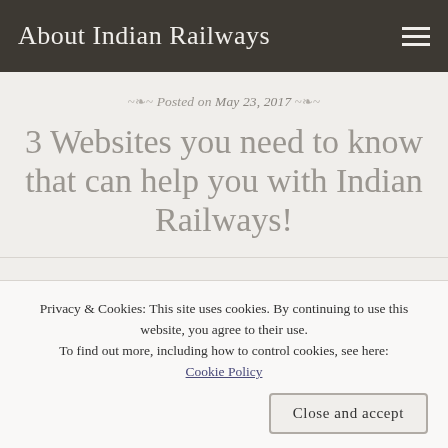About Indian Railways
Posted on May 23, 2017
3 Websites you need to know that can help you with Indian Railways!
NDIAN RAILWAYS IS HUGE! IT'S REALLY
Privacy & Cookies: This site uses cookies. By continuing to use this website, you agree to their use.
To find out more, including how to control cookies, see here:
Cookie Policy
Close and accept